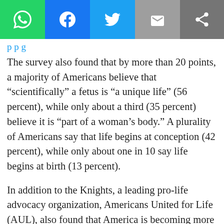sharing
The survey also found that by more than 20 points, a majority of Americans believe that “scientifically” a fetus is “a unique life” (56 percent), while only about a third (35 percent) believe it is “part of a woman’s body.” A plurality of Americans say that life begins at conception (42 percent), while only about one in 10 say life begins at birth (13 percent).
In addition to the Knights, a leading pro-life advocacy organization, Americans United for Life (AUL), also found that America is becoming more pro-life.
“At no point in the last four decades have we been closer to building a national consensus about the radical